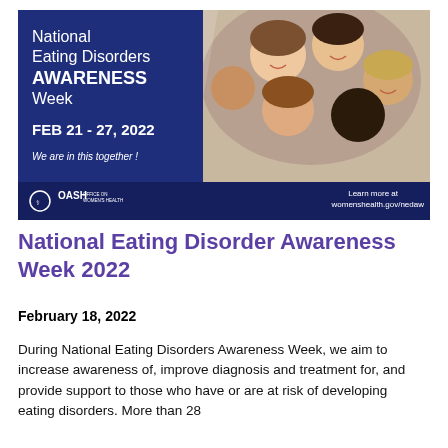[Figure (photo): National Eating Disorders Awareness Week 2022 promotional banner. Left side has a dark navy blue background with white text reading 'National Eating Disorders AWARENESS Week', 'FEB 21 - 27, 2022', 'We are in this together!', and the OASH logo. Right side shows a photo of five diverse young people smiling together in a circle, viewed from below. Bottom right has text 'Learn more at womenshealth.gov/nedaw'.]
National Eating Disorder Awareness Week 2022
February 18, 2022
During National Eating Disorders Awareness Week, we aim to increase awareness of, improve diagnosis and treatment for, and provide support to those who have or are at risk of developing eating disorders. More than 28...